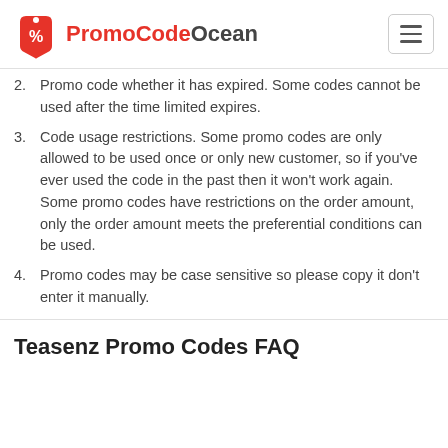PromoCodeOcean
2. Promo code whether it has expired. Some codes cannot be used after the time limited expires.
3. Code usage restrictions. Some promo codes are only allowed to be used once or only new customer, so if you've ever used the code in the past then it won't work again. Some promo codes have restrictions on the order amount, only the order amount meets the preferential conditions can be used.
4. Promo codes may be case sensitive so please copy it don't enter it manually.
Teasenz Promo Codes FAQ